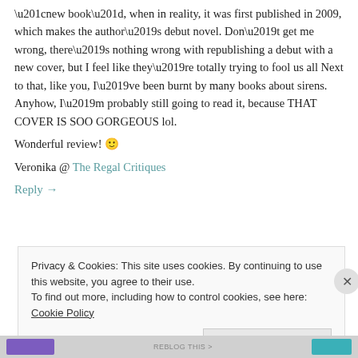“new book”, when in reality, it was first published in 2009, which makes the author’s debut novel. Don’t get me wrong, there’s nothing wrong with republishing a debut with a new cover, but I feel like they’re totally trying to fool us all Next to that, like you, I’ve been burnt by many books about sirens. Anyhow, I’m probably still going to read it, because THAT COVER IS SOO GORGEOUS lol.
Wonderful review! 🙂
Veronika @ The Regal Critiques
Reply →
Privacy & Cookies: This site uses cookies. By continuing to use this website, you agree to their use. To find out more, including how to control cookies, see here: Cookie Policy
Close and accept